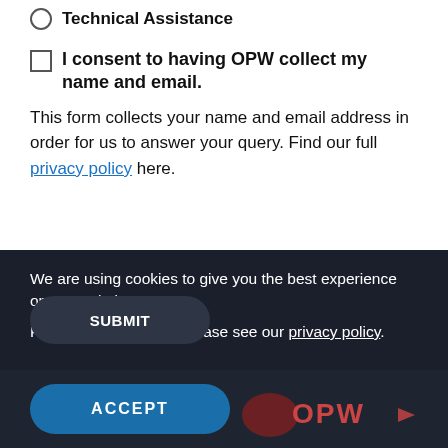Technical Assistance
I consent to having OPW collect my name and email.
This form collects your name and email address in order for us to answer your query. Find our full privacy policy here.
We are using cookies to give you the best experience on our website.
For more information, please see our privacy policy.
SUBMIT
ACCEPT